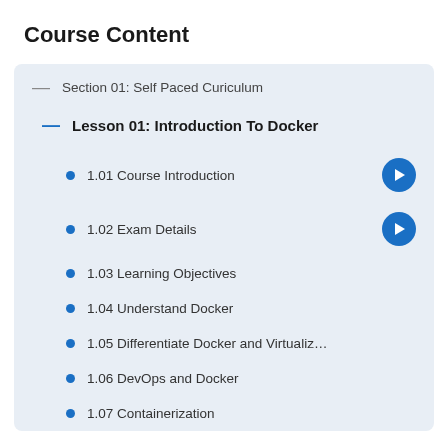Course Content
Section 01: Self Paced Curiculum
Lesson 01: Introduction To Docker
1.01 Course Introduction
1.02 Exam Details
1.03 Learning Objectives
1.04 Understand Docker
1.05 Differentiate Docker and Virtualiz…
1.06 DevOps and Docker
1.07 Containerization